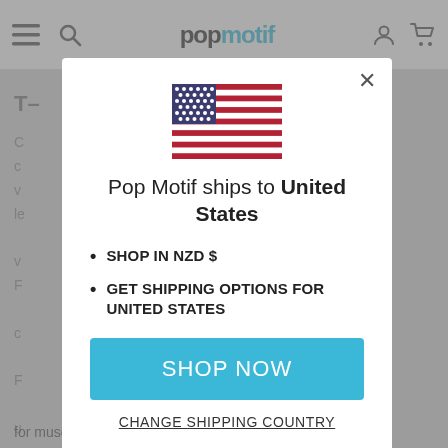[Figure (screenshot): Pop Motif website header with hamburger menu, search icon, logo, user icon, and cart icon on gray background]
Pop Motif ships to United States
SHOP IN NZD $
GET SHIPPING OPTIONS FOR UNITED STATES
SHOP NOW
CHANGE SHIPPING COUNTRY
for museum or gallery display.